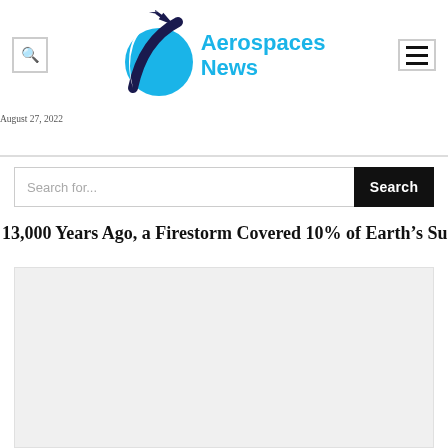Aerospaces News — August 27, 2022
Search for...
13,000 Years Ago, a Firestorm Covered 10% of Earth's Surface
[Figure (photo): Article featured image placeholder — light gray background]